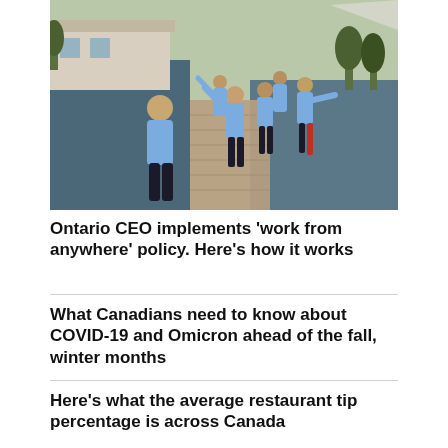[Figure (photo): Group of people wearing blue sweatshirts posing on a wooden dock over a lake, with a building and trees in the background.]
Ontario CEO implements 'work from anywhere' policy. Here's how it works
What Canadians need to know about COVID-19 and Omicron ahead of the fall, winter months
Here's what the average restaurant tip percentage is across Canada